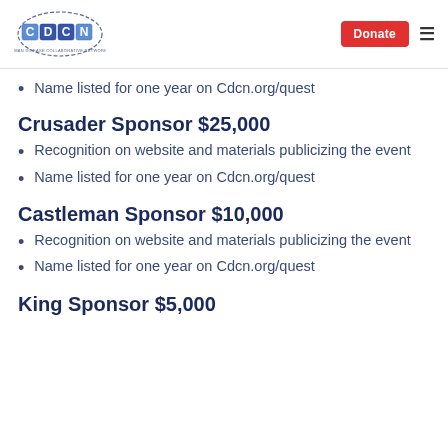[Figure (logo): CDCN logo with blue and purple letters C, D, C, N in squares with circular swoosh design]
Name listed for one year on Cdcn.org/quest
Crusader Sponsor $25,000
Recognition on website and materials publicizing the event
Name listed for one year on Cdcn.org/quest
Castleman Sponsor $10,000
Recognition on website and materials publicizing the event
Name listed for one year on Cdcn.org/quest
King Sponsor $5,000